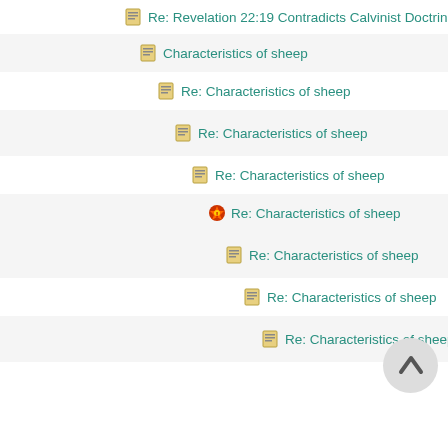Re: Revelation 22:19 Contradicts Calvinist Doctrine
Characteristics of sheep
Re: Characteristics of sheep
Re: Characteristics of sheep
Re: Characteristics of sheep
Re: Characteristics of sheep
Re: Characteristics of sheep
Re: Characteristics of sheep
Re: Characteristics of sheep
Re: Characteristics of sheep